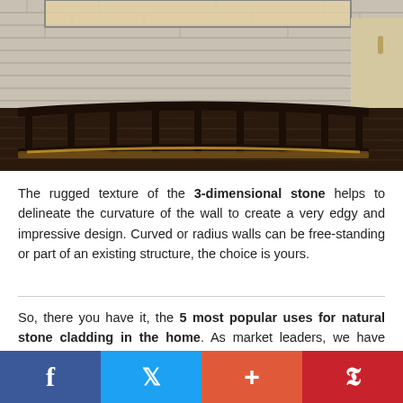[Figure (photo): Interior design photo showing a curved stone-clad wall with a dark wooden curved bench/seating with underlighting on a dark hardwood floor. A sink is partially visible on the right side.]
The rugged texture of the 3-dimensional stone helps to delineate the curvature of the wall to create a very edgy and impressive design. Curved or radius walls can be free-standing or part of an existing structure, the choice is yours.
So, there you have it, the 5 most popular uses for natural stone cladding in the home. As market leaders, we have seen our range used extensively across all these scenarios with some amazing